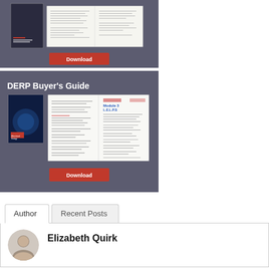[Figure (screenshot): Top portion of an ERP/DERP Buyer's Guide download banner with book mockup and red Download button, partially cropped at top]
[Figure (screenshot): DERP Buyer's Guide promotional banner on dark grey background, showing book cover mockup with open pages and a red Download button. Title reads 'DERP Buyer's Guide']
Author
Recent Posts
Elizabeth Quirk